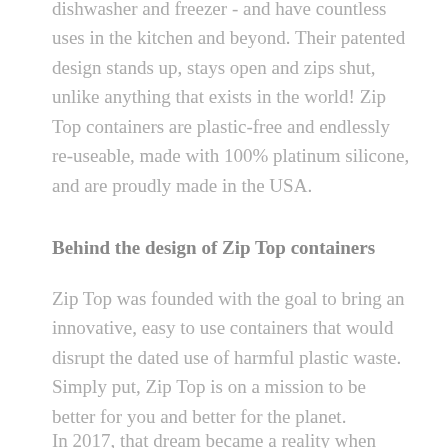dishwasher and freezer - and have countless uses in the kitchen and beyond. Their patented design stands up, stays open and zips shut, unlike anything that exists in the world! Zip Top containers are plastic-free and endlessly re-useable, made with 100% platinum silicone, and are proudly made in the USA.
Behind the design of Zip Top containers
Zip Top was founded with the goal to bring an innovative, easy to use containers that would disrupt the dated use of harmful plastic waste. Simply put, Zip Top is on a mission to be better for you and better for the planet.
In 2017, that dream became a reality when Rob...